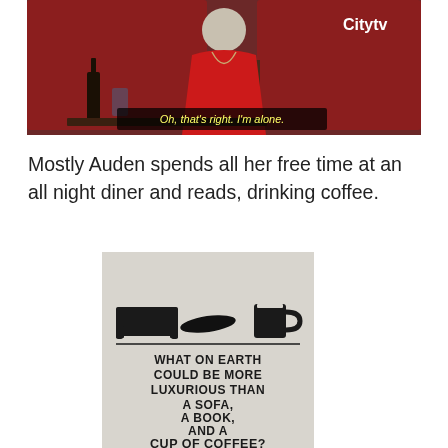[Figure (screenshot): TV screenshot showing a woman in a red jacket sitting alone in a diner booth, holding a bottle, with Citytv watermark and subtitle 'Oh, that's right. I'm alone.']
Mostly Auden spends all her free time at an all night diner and reads, drinking coffee.
[Figure (illustration): Minimalist graphic on grey background showing icons of a sofa, a book, and a coffee mug above a horizontal line, with text reading 'WHAT ON EARTH COULD BE MORE LUXURIOUS THAN A SOFA, A BOOK, AND A CUP OF COFFEE?']